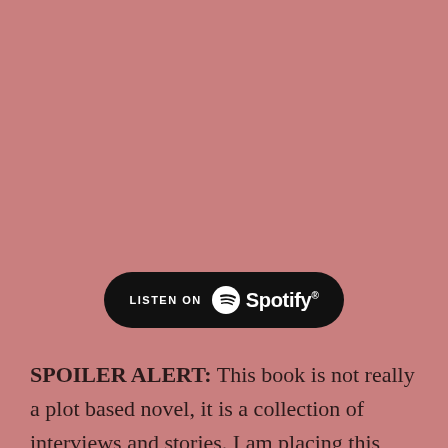[Figure (logo): Listen on Spotify button — black rounded rectangle badge with Spotify logo icon and wordmark in white]
SPOILER ALERT: This book is not really a plot based novel, it is a collection of interviews and stories. I am placing this spoiler alert anyway because I will be discussing some aspects of the stories presented. This is